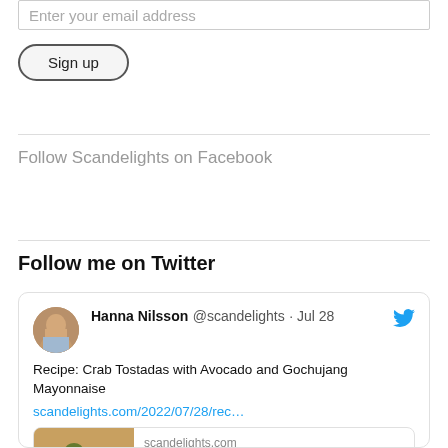Enter your email address
Sign up
Follow Scandelights on Facebook
Follow me on Twitter
[Figure (screenshot): Embedded tweet from Hanna Nilsson @scandelights dated Jul 28 about Recipe: Crab Tostadas with Avocado and Gochujang Mayonnaise with link scandelights.com/2022/07/28/rec… and a link preview card showing scandelights.com and partial title 'Recipe: Crab Tostadas with A...']